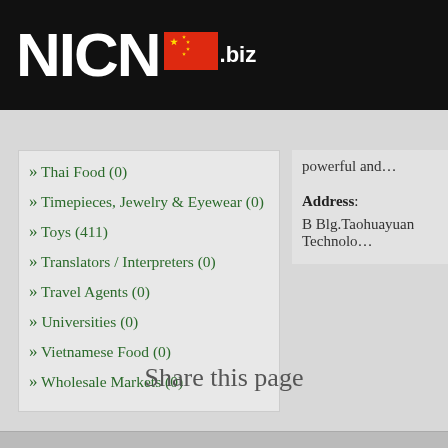NICN .biz
» Thai Food (0)
» Timepieces, Jewelry & Eyewear (0)
» Toys (411)
» Translators / Interpreters (0)
» Travel Agents (0)
» Universities (0)
» Vietnamese Food (0)
» Wholesale Markets (0)
powerful and…
Address: B Blg.Taohuayuan Technolo…
Share this page